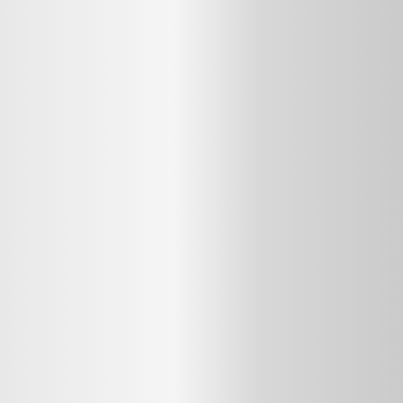| Time | Incall | Outc... |
| --- | --- | --- |
| 1 Hour | 130 EUR | X... |
| 2 Hours | 230 EUR | 28... |
| 3 Hours | 330 EUR | X... |